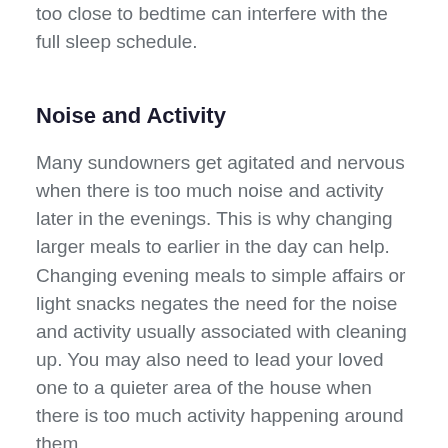too close to bedtime can interfere with the full sleep schedule.
Noise and Activity
Many sundowners get agitated and nervous when there is too much noise and activity later in the evenings. This is why changing larger meals to earlier in the day can help. Changing evening meals to simple affairs or light snacks negates the need for the noise and activity usually associated with cleaning up. You may also need to lead your loved one to a quieter area of the house when there is too much activity happening around them.
Lighting